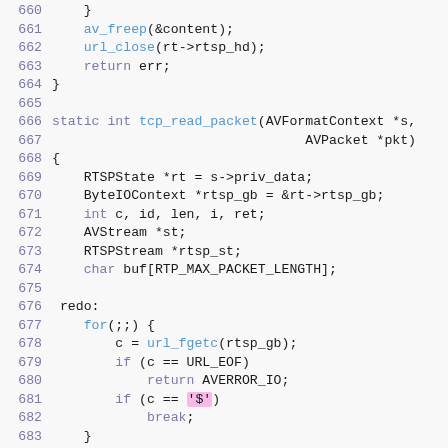[Figure (screenshot): Source code listing in C showing lines 660-684 of an RTSP implementation. Lines include av_freep, url_close, return statements, function definition tcp_read_packet, variable declarations, and a redo loop with for(;;) reading bytes.]